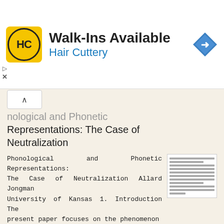[Figure (screenshot): Hair Cuttery advertisement banner with logo, 'Walk-Ins Available' text, and navigation arrow icon]
Phonological and Phonetic Representations: The Case of Neutralization
Phonological and Phonetic Representations: The Case of Neutralization Allard Jongman University of Kansas 1. Introduction The present paper focuses on the phenomenon of phonological neutralization to consider
More information →
What the National Curriculum requires in reading at Y5 and Y6
What the National Curriculum requires in reading at Y5 and Y6 Word reading apply